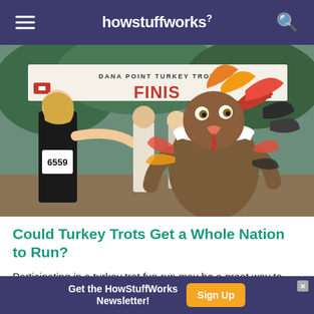howstuffworks
[Figure (photo): Race participants at the Dana Point Turkey Trot event near the finish line. A person in a full turkey costume (brown fur body, turkey head mask with pink beak, colorful feathers) is prominent in the foreground. A female runner with race number 6559 is on the left. A banner reading DANA POINT TURKEY TROT FINISH is visible in the background.]
Could Turkey Trots Get a Whole Nation to Run?
Participating in a turkey trot fun run may be a great way to work off Thanksgiving dinner, but it could hav